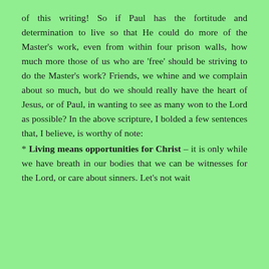of this writing! So if Paul has the fortitude and determination to live so that He could do more of the Master's work, even from within four prison walls, how much more those of us who are 'free' should be striving to do the Master's work? Friends, we whine and we complain about so much, but do we should really have the heart of Jesus, or of Paul, in wanting to see as many won to the Lord as possible? In the above scripture, I bolded a few sentences that, I believe, is worthy of note:
* Living means opportunities for Christ – it is only while we have breath in our bodies that we can be witnesses for the Lord, or care about sinners. Let's not wait